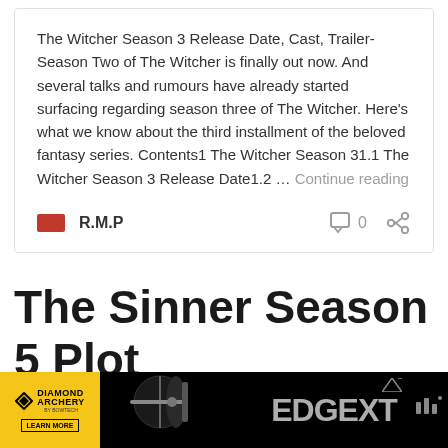The Witcher Season 3 Release Date, Cast, Trailer- Season Two of The Witcher is finally out now. And several talks and rumours have already started surfacing regarding season three of The Witcher. Here's what we know about the third installment of the beloved fantasy series. Contents1 The Witcher Season 31.1 The Witcher Season 3 Release Date1.2 … Continue reading
R.M.P
0
The Sinner Season 5 Plot
[Figure (other): Diamond Archery advertisement banner with bow image and EDGEXT text on black background]